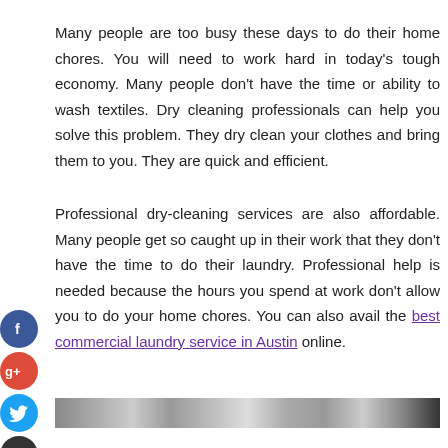Many people are too busy these days to do their home chores. You will need to work hard in today's tough economy. Many people don't have the time or ability to wash textiles. Dry cleaning professionals can help you solve this problem. They dry clean your clothes and bring them to you. They are quick and efficient.
Professional dry-cleaning services are also affordable. Many people get so caught up in their work that they don't have the time to do their laundry. Professional help is needed because the hours you spend at work don't allow you to do your home chores. You can also avail the best commercial laundry service in Austin online.
[Figure (photo): Partial image of what appears to be laundry or clothing items, shown at the bottom of the page.]